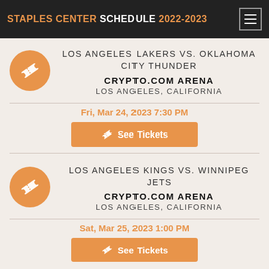STAPLES CENTER SCHEDULE 2022-2023
LOS ANGELES LAKERS VS. OKLAHOMA CITY THUNDER
CRYPTO.COM ARENA
LOS ANGELES, CALIFORNIA
Fri, Mar 24, 2023 7:30 PM
See Tickets
LOS ANGELES KINGS VS. WINNIPEG JETS
CRYPTO.COM ARENA
LOS ANGELES, CALIFORNIA
Sat, Mar 25, 2023 1:00 PM
See Tickets